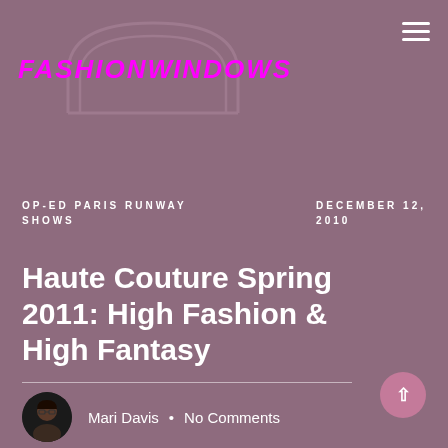[Figure (logo): FashionWindows logo with magenta italic bold text and an arch/window outline SVG icon behind the text]
OP-ED PARIS RUNWAY SHOWS
DECEMBER 12, 2010
Haute Couture Spring 2011: High Fashion & High Fantasy
[Figure (photo): Small circular avatar photo of Mari Davis]
Mari Davis · No Comments